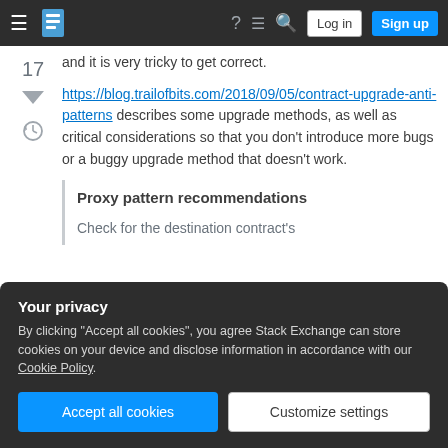Stack Exchange navigation bar with Log in and Sign up buttons
and it is very tricky to get correct.
https://blog.trailofbits.com/2018/09/05/contract-upgrade-anti-patterns describes some upgrade methods, as well as critical considerations so that you don't introduce more bugs or a buggy upgrade method that doesn't work.
Proxy pattern recommendations
Check for the destination contract's
Your privacy
By clicking "Accept all cookies", you agree Stack Exchange can store cookies on your device and disclose information in accordance with our Cookie Policy.
Accept all cookies
Customize settings